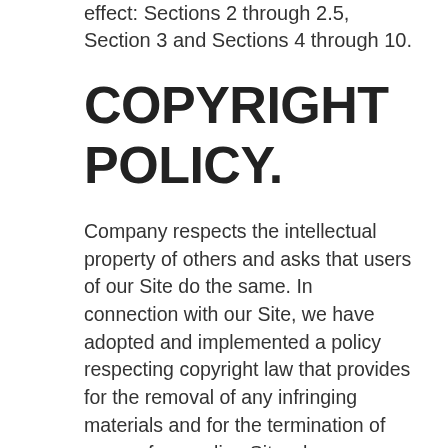effect: Sections 2 through 2.5, Section 3 and Sections 4 through 10.
COPYRIGHT POLICY.
Company respects the intellectual property of others and asks that users of our Site do the same. In connection with our Site, we have adopted and implemented a policy respecting copyright law that provides for the removal of any infringing materials and for the termination of users of our online Site who are repeated infringers of intellectual property rights, including copyrights. If you believe that one of our users is, through the use of our Site, unlawfully infringing the copyright(s) in a work, and wish to have the allegedly infringing material removed, the following information in the form of a written notification (pursuant to 17 U.S.C. § 512(c)) must be provided to our designated Copyright Agent: